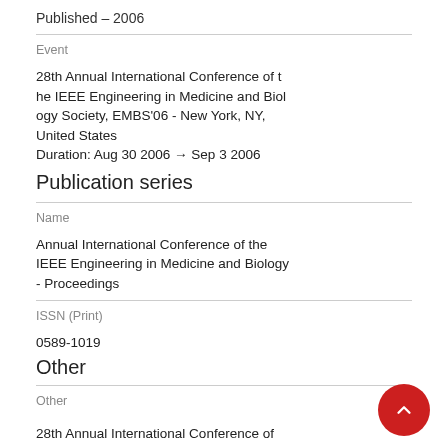Published – 2006
Event
28th Annual International Conference of the IEEE Engineering in Medicine and Biology Society, EMBS'06 - New York, NY, United States
Duration: Aug 30 2006 → Sep 3 2006
Publication series
Name
Annual International Conference of the IEEE Engineering in Medicine and Biology - Proceedings
ISSN (Print)
0589-1019
Other
Other
28th Annual International Conference of